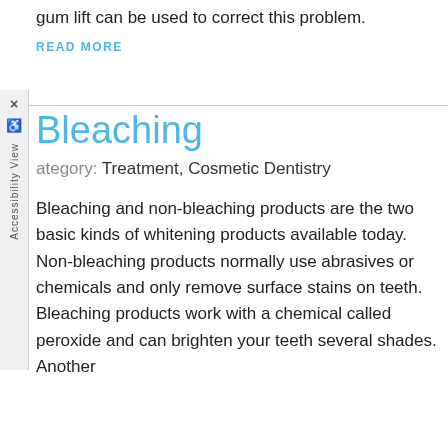gum lift can be used to correct this problem.
READ MORE
Bleaching
Category: Treatment, Cosmetic Dentistry
Bleaching and non-bleaching products are the two basic kinds of whitening products available today. Non-bleaching products normally use abrasives or chemicals and only remove surface stains on teeth. Bleaching products work with a chemical called peroxide and can brighten your teeth several shades. Another